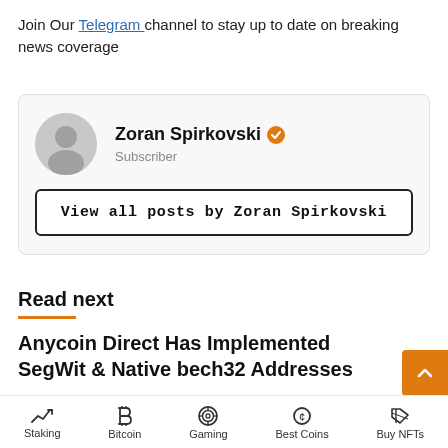Join Our Telegram channel to stay up to date on breaking news coverage
[Figure (infographic): Author card for Zoran Spirkovski showing avatar placeholder, name with orange verified badge, 'Subscriber' role text, and 'View all posts by Zoran Spirkovski' button]
Read next
Anycoin Direct Has Implemented SegWit & Native bech32 Addresses
Tom Clancy • Updated: 12 March 2018
Staking | Bitcoin | Gaming | Best Coins | Buy NFTs